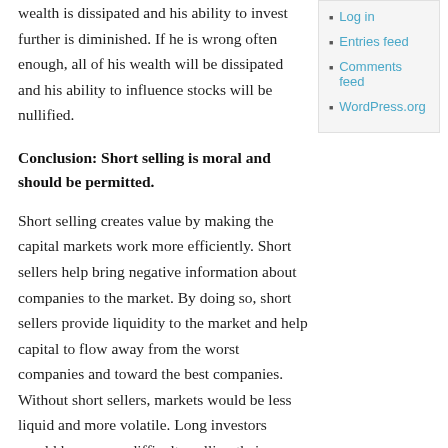wealth is dissipated and his ability to invest further is diminished. If he is wrong often enough, all of his wealth will be dissipated and his ability to influence stocks will be nullified.
Conclusion: Short selling is moral and should be permitted.
Short selling creates value by making the capital markets work more efficiently. Short sellers help bring negative information about companies to the market. By doing so, short sellers provide liquidity to the market and help capital to flow away from the worst companies and toward the best companies. Without short sellers, markets would be less liquid and more volatile. Long investors would have more difficulty selling their positions, and the lack of liquidity would make it more difficult for companies to raise funds in public offerings.
Log in
Entries feed
Comments feed
WordPress.org